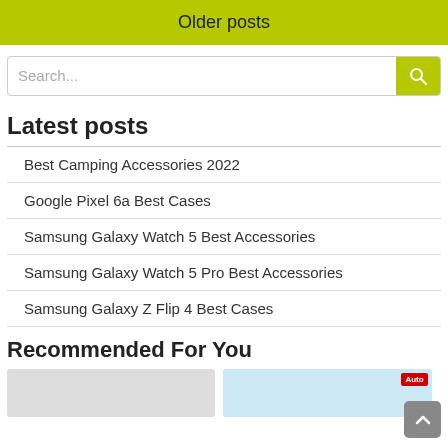Older posts
Search...
Latest posts
Best Camping Accessories 2022
Google Pixel 6a Best Cases
Samsung Galaxy Watch 5 Best Accessories
Samsung Galaxy Watch 5 Pro Best Accessories
Samsung Galaxy Z Flip 4 Best Cases
Recommended For You
[Figure (photo): Recommended content thumbnails: left shows a partially visible image, right shows an automotive magazine cover with 'Auto' badge]